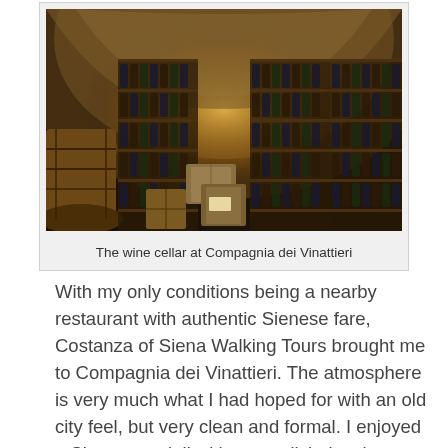[Figure (photo): Interior of a wine cellar at Compagnia dei Vinattieri showing stone arched ceiling, wooden barrels on the left, and tall shelves filled with wine bottles on both sides, with boxes stacked in the middle under warm lighting.]
The wine cellar at Compagnia dei Vinattieri
With my only conditions being a nearby restaurant with authentic Sienese fare, Costanza of Siena Walking Tours brought me to Compagnia dei Vinattieri. The atmosphere is very much what I had hoped for with an old city feel, but very clean and formal. I enjoyed a Sienese ravioli with pesto dish, local formaggio (cheese) plate, and a glass of Chianti Classico. Our waitress was very friendly, spoke great English, and graciously showed us the restaurant's underground